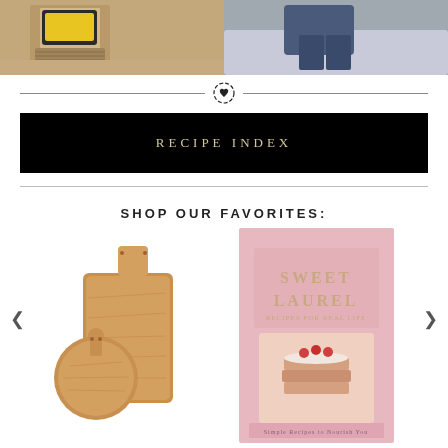[Figure (photo): Two lifestyle photos side by side: left shows person with yellow bag and wicker basket, right shows person sitting on bed with blue jeans.]
[Figure (illustration): Decorative divider with circular heart/target icon in center flanked by horizontal lines.]
RECIPE INDEX
[Figure (photo): Wooden cutting boards set of 3 with handles.]
[Figure (photo): Sweet Laurel cookbook with pink cover showing a layered cake.]
SHOP OUR FAVORITES: